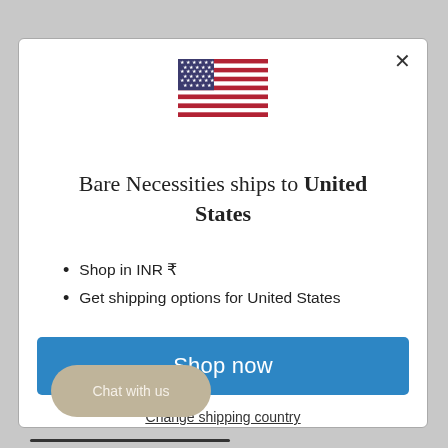[Figure (illustration): US flag emoji icon centered at top of modal dialog]
Bare Necessities ships to United States
Shop in INR ₹
Get shipping options for United States
Shop now
Change shipping country
Chat with us